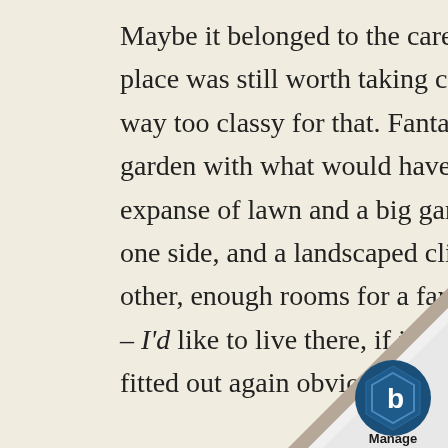Maybe it belonged to the caretaker, when the place was still worth taking care of, but it seems way too classy for that. Fantastic views, a huge garden with what would have been a wide expanse of lawn and a big garage-workshop on one side, and a landscaped cliff garden on the other, enough rooms for a family of five or more – I'd like to live there, if it was cleaned up and fitted out again obviously.

Naturally, as a good urban
[Figure (logo): A page curl effect in the bottom-right corner revealing a blue hexagonal logo with 'b' letter and 'Manage' text below it]